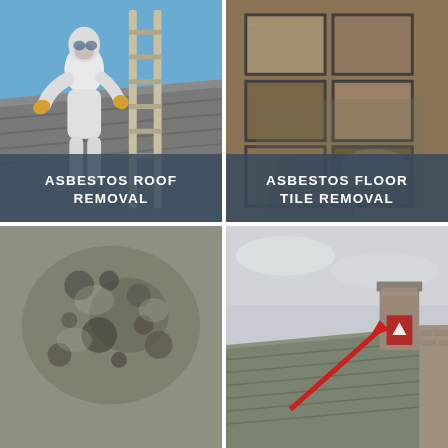[Figure (photo): Worker in white protective suit and yellow gloves removing asbestos roofing, leaning against a ladder on a grey roof with blue sky in background. Text overlay reads ASBESTOS ROOF REMOVAL.]
[Figure (photo): Close-up of asbestos floor tiles being removed, showing sandy brown and dark tiles from above. Text overlay reads ASBESTOS FLOOR TILE REMOVAL.]
[Figure (photo): Close-up photograph of mottled grey asbestos material surface with dark spots and texture.]
[Figure (photo): Rooftop with chimney stack against overcast sky. Red arrow and red box with up arrow icon annotating part of the roof.]